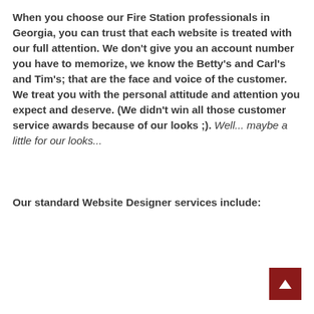When you choose our Fire Station professionals in Georgia, you can trust that each website is treated with our full attention. We don't give you an account number you have to memorize, we know the Betty's and Carl's and Tim's; that are the face and voice of the customer. We treat you with the personal attitude and attention you expect and deserve. (We didn't win all those customer service awards because of our looks ;). Well... maybe a little for our looks...
Our standard Website Designer services include: